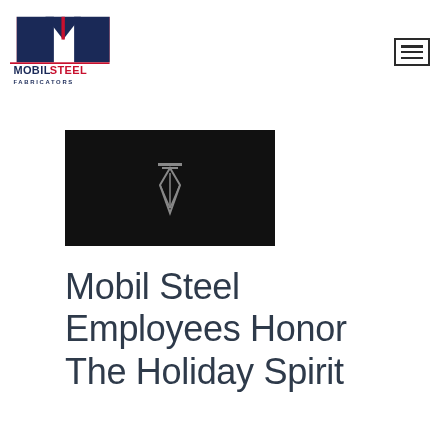[Figure (logo): Mobil Steel Fabricators logo — blue and red M shape above the text MOBILSTEEL FABRICATORS]
[Figure (other): Dark thumbnail image with a pen nib icon in the center]
Mobil Steel Employees Honor The Holiday Spirit